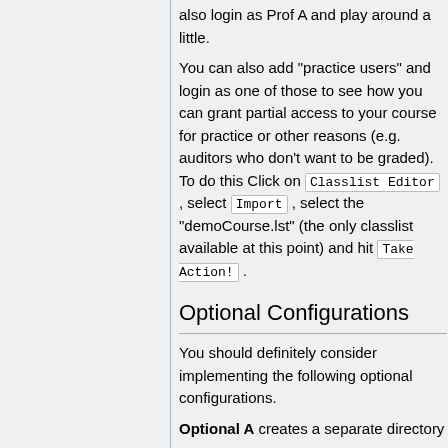also login as Prof A and play around a little.
You can also add "practice users" and login as one of those to see how you can grant partial access to your course for practice or other reasons (e.g. auditors who don't want to be graded). To do this Click on Classlist Editor , select Import , select the "demoCourse.lst" (the only classlist available at this point) and hit Take Action! .
Optional Configurations
You should definitely consider implementing the following optional configurations.
Optional A creates a separate directory